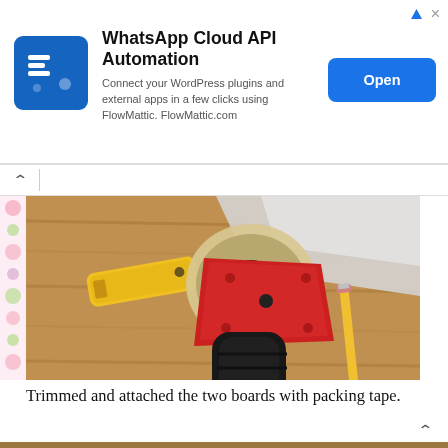[Figure (screenshot): Advertisement banner for WhatsApp Cloud API Automation by FlowMattic, showing a blue square logo with stylized S, title text, description text, and a blue Open button]
[Figure (photo): A packing tape gun dispenser with red metal frame and black handle, resting on a wood table next to a yellow box cutter and a pencil, with white foam boards in the background]
Trimmed and attached the two boards with packing tape.
[Figure (photo): Partial view of wooden chairs around a table, bottom of page]